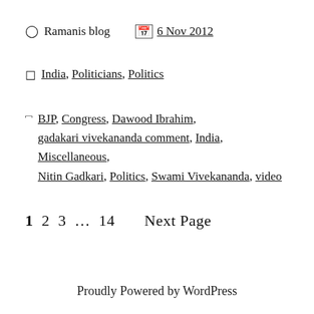Ramanis blog  6 Nov 2012
India, Politicians, Politics
BJP, Congress, Dawood Ibrahim, gadakari vivekananda comment, India, Miscellaneous, Nitin Gadkari, Politics, Swami Vivekananda, video
1 2 3 … 14   Next Page
Proudly Powered by WordPress